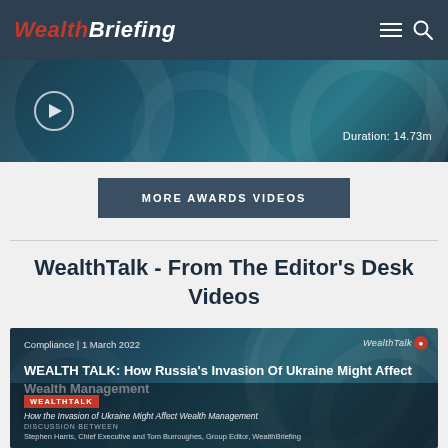WealthBriefing
[Figure (screenshot): Video thumbnail with teal/dark blue circular design, play button on left, Duration: 14.73m text on right]
MORE AWARDS VIDEOS
WealthTalk - From The Editor's Desk Videos
[Figure (screenshot): WealthTalk video card with dark blue background, circular design, showing: Compliance | 1 March 2022, WEALTH TALK: How Russia's Invasion Of Ukraine Might Affect Wealth Management, WEALTHTALK badge, subtitle: How the Invasion of Ukraine Might Affect Wealth Management, DISCUSSION BETWEEN, Stephen Harris, Chief Executive and Tom Burroughes, Group Editor, WealthBriefing]